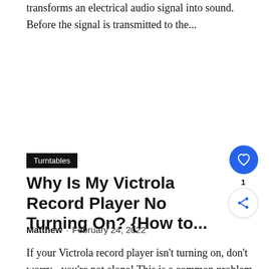transforms an electrical audio signal into sound. Before the signal is transmitted to the...
Turntables
Why Is My Victrola Record Player No Turning On? {How to...
Matthew · February 24, 2022
If your Victrola record player isn't turning on, don't worry - you're not alone! This is a common problem with these